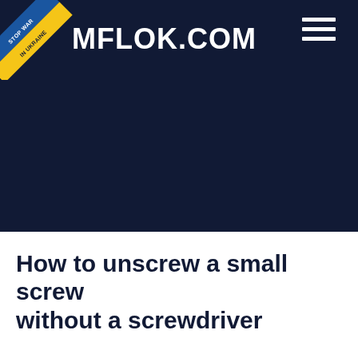MFLOK.COM
[Figure (illustration): Ukraine Stop War ribbon banner in blue and yellow in the top-left corner of the header]
How to unscrew a small screw without a screwdriver